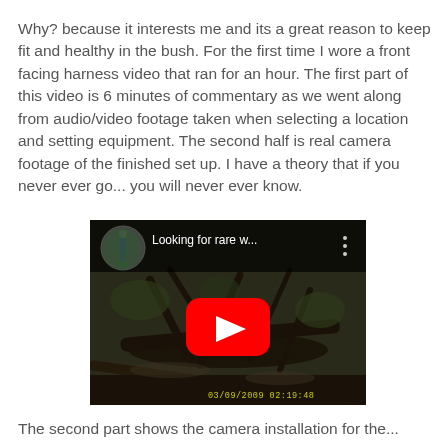Why? because it interests me and its a great reason to keep fit and healthy in the bush. For the first time I wore a front facing harness video that ran for an hour. The first part of this video is 6 minutes of commentary as we went along from audio/video footage taken when selecting a location and setting equipment. The second half is real camera footage of the finished set up. I have a theory that if you never ever go... you will never ever know.
[Figure (screenshot): YouTube video thumbnail showing a forest/bush scene with fallen logs and debris. Video title shown as 'Looking for rare w...' with a red YouTube play button in the center. A small circular thumbnail in the top-left shows a person standing in a bush setting. A timestamp '03/09/2009 02:19:48' is visible at the bottom right of the video frame.]
The second part shows the camera installation for the...